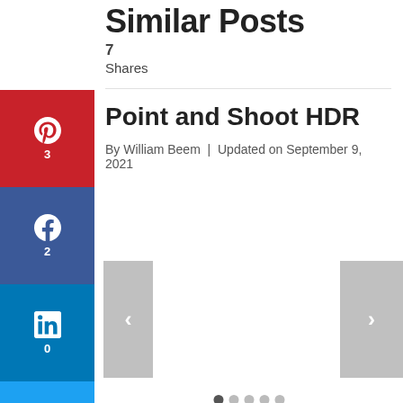Similar Posts
7 Shares
Point and Shoot HDR
By William Beem | Updated on September 9, 2021
[Figure (infographic): Social share sidebar with Pinterest (3), Facebook (2), LinkedIn (0), Twitter (0), Evernote (0), WhatsApp (0), Telegram (0), Heart/Love (0) buttons]
[Figure (infographic): Slider navigation with previous (<) and next (>) arrow buttons, and dots pagination indicator at the bottom]